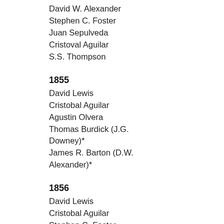David W. Alexander
Stephen C. Foster
Juan Sepulveda
Cristoval Aguilar
S.S. Thompson
1855
David Lewis
Cristobal Aguilar
Agustin Olvera
Thomas Burdick (J.G. Downey)*
James R. Barton (D.W. Alexander)*
1856
David Lewis
Cristobal Aguilar
Stephen C. Foster
Thomas Burdick
I.B. Wilson (Agustin Olvera)*